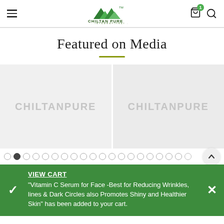[Figure (logo): Chiltan Pure International logo with mountain graphic and green text]
Featured on Media
[Figure (screenshot): Two placeholder media carousel cards each showing 'CHILTANPURE' watermark text on light gray background]
VIEW CART
"Vitamin C Serum for Face -Best for Reducing Wrinkles, lines & Dark Circles also Promotes Shiny and Healthier Skin" has been added to your cart.